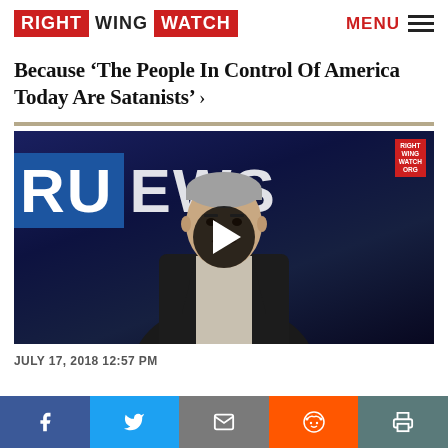RIGHT WING WATCH | MENU
Because 'The People In Control Of America Today Are Satanists' ›
[Figure (screenshot): Video thumbnail showing a man in a suit sitting at a news desk in front of a 'TRUNEWS' backdrop with a play button overlay. Small Right Wing Watch watermark in upper right corner.]
JULY 17, 2018 12:57 PM
Facebook | Twitter | Email | Reddit | Print